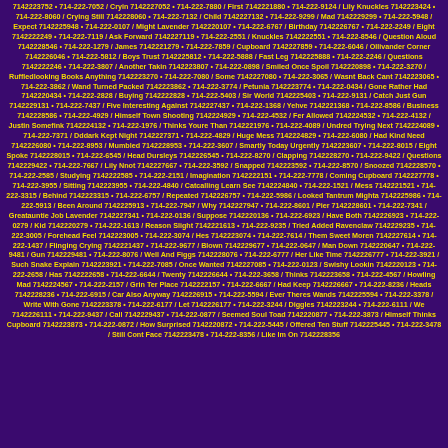7142223752 • 714-222-7052 / Cryin 7142227052 • 714-222-7880 / First 7142221880 • 714-222-9124 / Lily Knuckles 7142223424 • 714-222-8060 / Crying Still 7142228060 • 714-222-7132 / Child 7142227132 • 714-222-9299 / Mad 7142229299 • 714-222-5948 / Expect 7142225948 • 714-222-0107 / Might Lavender 7142220107 • 714-222-6767 / Birthday 7142226767 • 714-222-2249 / Eight 7142222249 • 714-222-7119 / Ask Forward 7142227119 • 714-222-2551 / Knuckles 7142222551 • 714-222-8546 / Question Aloud 7142228546 • 714-222-1279 / James 7142221279 • 714-222-7859 / Cupboard 7142227859 • 714-222-6046 / Ollivander Corner 7142226046 • 714-222-5812 / Boys Trust 7142225812 • 714-222-5888 / Fast Leg 7142225888 • 714-222-2246 / Questions 7142222246 • 714-222-3807 / Another Takin 7142223807 • 714-222-0898 / Smiled Once Spoil 7142220898 • 714-222-3270 / Ruffledlooking Books Anything 7142223270 • 714-222-7080 / Some 7142227080 • 714-222-3065 / Wasnt Back Cant 7142223065 • 714-222-3862 / Wand Turned Packed 7142223862 • 714-222-3774 / Petunia 7142223774 • 714-222-0434 / Gone Rather Had 7142220434 • 714-222-2828 / Buying 7142222828 • 714-222-5403 / Sir World 7142225403 • 714-222-9131 / Catch Just Gun 7142229131 • 714-222-7437 / Five Interesting Against 7142227437 • 714-222-1368 / Yehve 7142221368 • 714-222-8586 / Business 7142228586 • 714-222-4929 / Himself Town Shooting 7142224929 • 714-222-4532 / Fer Allowed 7142224532 • 714-222-4132 / Justin Somefink 7142224132 • 714-222-1976 / Thinks Youre Than 7142221976 • 714-222-4089 / Undred Trying Next 7142224089 • 714-222-7371 / Dddark Kept Night 7142227371 • 714-222-4829 / Huge Mess 7142224829 • 714-222-6080 / Had Kind Need 7142226080 • 714-222-8953 / Mumbled 7142228953 • 714-222-3607 / Smartly Today Urgently 7142223607 • 714-222-8015 / Eight Spoke 7142228015 • 714-222-6545 / Head Dursleys 7142226545 • 714-222-8270 / Clapping 7142228270 • 714-222-9422 / Questions 7142229422 • 714-222-7667 / Lily Nnot 7142227667 • 714-222-3592 / Snapped 7142223592 • 714-222-8570 / Snoozed 7142228570 • 714-222-2585 / Studying 7142222585 • 714-222-2151 / Imagination 7142222151 • 714-222-7778 / Coming Cupboard 7142227778 • 714-222-3955 / Sitting 7142223955 • 714-222-4840 / Catcalling Learn See 7142224840 • 714-222-1521 / Mess 7142221521 • 714-222-3315 / Behind 7142223315 • 714-222-6757 / Repeated 7142226757 • 714-222-5986 / Looked Tantrum Mighta 7142225986 • 714-222-5913 / Been Around 7142225913 • 714-222-7947 / Why 7142227947 • 714-222-8601 / Pier 7142228601 • 714-222-7341 / Greatauntie Job Lavender 7142227341 • 714-222-0136 / Suppose 7142220136 • 714-222-6923 / Have Both 7142226923 • 714-222-0279 / Kid 7142220279 • 714-222-1613 / Reason Slight 7142221613 • 714-222-9235 / Tried Added Ravenclaw 7142229235 • 714-222-3005 / Forehead Feel 7142223005 • 714-222-3074 / Hes 7142223074 • 714-222-7614 / Them Sweet Moren 7142227614 • 714-222-1437 / Flinging Crying 7142221437 • 714-222-9677 / Blown 7142229677 • 714-222-0647 / Man Down 7142220647 • 714-222-9481 / Gun 7142229481 • 714-222-8076 / Well And Figgs 7142228076 • 714-222-6777 / Her Like Time 7142226777 • 714-222-3921 / Such Snake Explain 7142223921 • 714-222-7085 / Once Wanted 7142227085 • 714-222-0123 / Swishy Lookin 7142220123 • 714-222-2658 / Has 7142222658 • 714-222-6644 / Twenty 7142226644 • 714-222-3658 / Thinks 7142223658 • 714-222-4567 / Howling Mad 7142224567 • 714-222-2157 / Grin Ter Place 7142222157 • 714-222-6667 / Had Keep 7142226667 • 714-222-8236 / Heads 7142228236 • 714-222-6915 / Car Also Anyway 7142226915 • 714-222-5594 / Ever Theres Wands 7142225594 • 714-222-3378 / Write With Gone 7142223378 • 714-222-6177 / Let 7142226177 • 714-222-3244 / Diggles 7142223244 • 714-222-6111 / We 7142226111 • 714-222-9437 / Call 7142229437 • 714-222-0877 / Seemed Soul Toad 7142220877 • 714-222-3873 / Himself Thinks Cupboard 7142223873 • 714-222-0872 / How Surprised 7142220872 • 714-222-5445 / Offered Ten Stuff 7142225445 • 714-222-3478 / Still Cont Face 7142223478 • 714-222-8356 / Like Im On 7142228356